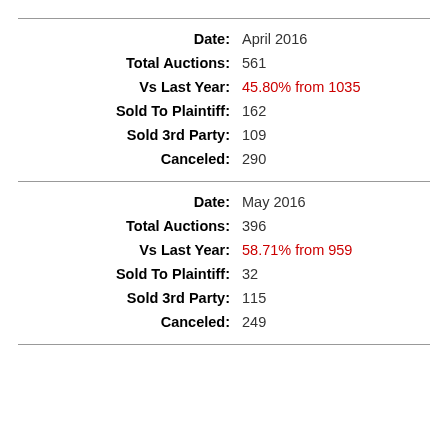Date: April 2016
Total Auctions: 561
Vs Last Year: 45.80% from 1035
Sold To Plaintiff: 162
Sold 3rd Party: 109
Canceled: 290
Date: May 2016
Total Auctions: 396
Vs Last Year: 58.71% from 959
Sold To Plaintiff: 32
Sold 3rd Party: 115
Canceled: 249